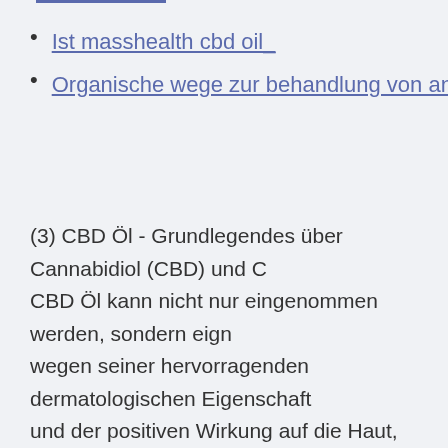Ist masshealth cbd oil_
Organische wege zur behandlung von angstzustände
(3) CBD Öl - Grundlegendes über Cannabidiol (CBD) und C CBD Öl kann nicht nur eingenommen werden, sondern eign wegen seiner hervorragenden dermatologischen Eigenschaft und der positiven Wirkung auf die Haut, auch zur äußerliche Anwendung. Beim CBD Öl Kaufen entscheidet man sich da lieber für ein CBD Öl, dass mit Bio-Hanfsamenöl, Bio-Oliver Bio-Kokosöl angereichert wurde.